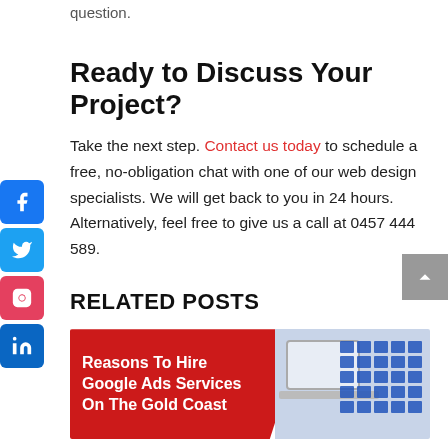question.
Ready to Discuss Your Project?
Take the next step. Contact us today to schedule a free, no-obligation chat with one of our web design specialists. We will get back to you in 24 hours. Alternatively, feel free to give us a call at 0457 444 589.
RELATED POSTS
[Figure (illustration): Related post card with red background text 'Reasons To Hire Google Ads Services On The Gold Coast' and a laptop/table screenshot on the right]